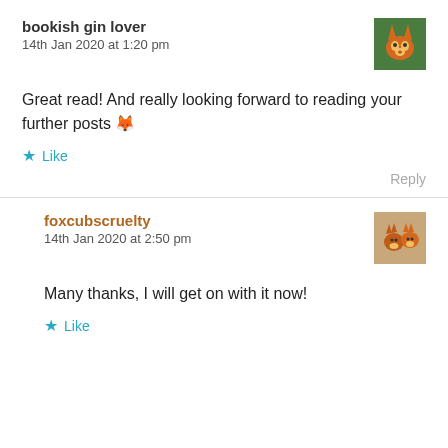bookish gin lover
14th Jan 2020 at 1:20 pm
Great read! And really looking forward to reading your further posts 🦊
★ Like
Reply
foxcubscruelty
14th Jan 2020 at 2:50 pm
Many thanks, I will get on with it now!
★ Like